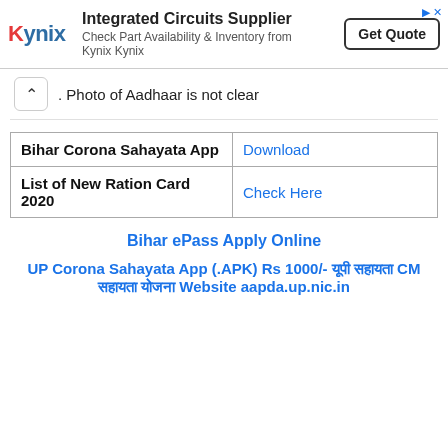[Figure (other): Kynix advertisement banner with logo, text 'Integrated Circuits Supplier', 'Check Part Availability & Inventory from Kynix Kynix', and a 'Get Quote' button]
. Photo of Aadhaar is not clear
| Bihar Corona Sahayata App | Download |
| List of New Ration Card 2020 | Check Here |
Bihar ePass Apply Online
UP Corona Sahayata App (.APK) Rs 1000/- यूपी सहायता CM सहायता योजना Website aapda.up.nic.in